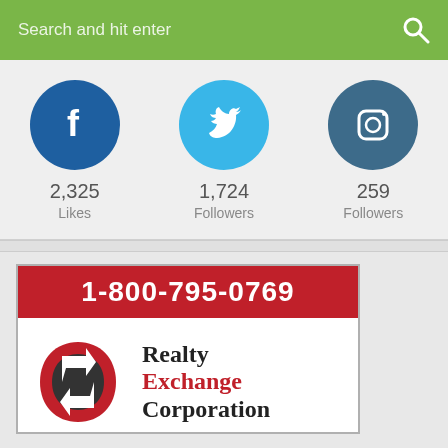[Figure (screenshot): Search bar with green background and search icon on the right, placeholder text 'Search and hit enter']
[Figure (infographic): Social media stats: Facebook 2,325 Likes, Twitter 1,724 Followers, Instagram 259 Followers, shown as circular icons with counts below]
[Figure (logo): Realty Exchange Corporation advertisement with phone number 1-800-795-0769 on red banner, company logo and name below]